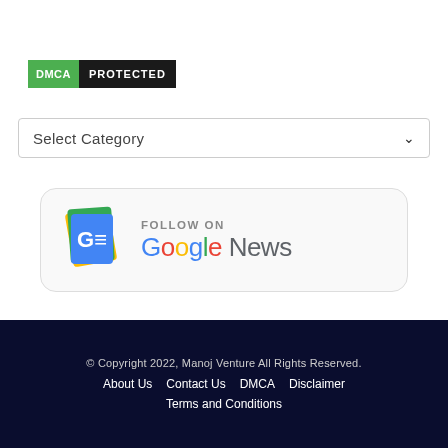[Figure (logo): DMCA Protected badge: green box with 'DMCA' in white bold text, black box with 'PROTECTED' in white bold text]
Select Category
[Figure (logo): Follow on Google News badge with Google News icon and multicolor Google News text]
© Copyright 2022, Manoj Venture All Rights Reserved.
About Us   Contact Us   DMCA   Disclaimer
Terms and Conditions